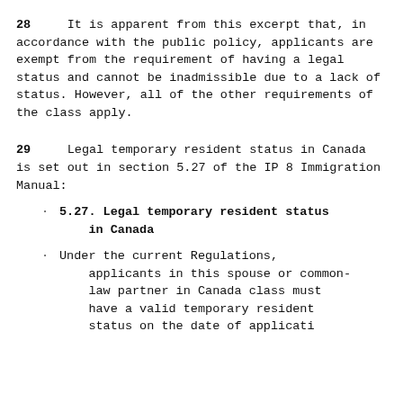28    It is apparent from this excerpt that, in accordance with the public policy, applicants are exempt from the requirement of having a legal status and cannot be inadmissible due to a lack of status. However, all of the other requirements of the class apply.
29    Legal temporary resident status in Canada is set out in section 5.27 of the IP 8 Immigration Manual:
5.27. Legal temporary resident status in Canada
Under the current Regulations, applicants in this spouse or common-law partner in Canada class must have a valid temporary resident status on the date of application...